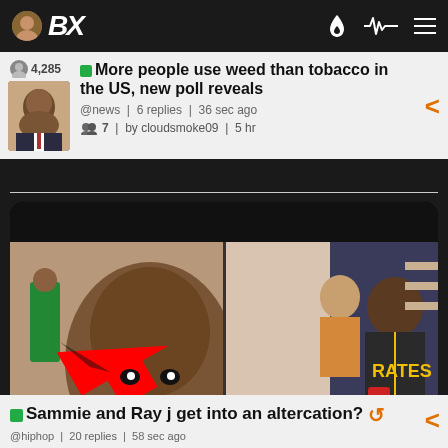BX — 4,285
More people use weed than tobacco in the US, new poll reveals
@news | 6 replies | 36 sec ago
7 | by cloudsmoke09 | 5 hr
[Figure (photo): Side-by-side images: left shows a man looking sideways with a red arrow pointing at him in a crowd; right shows a man in a Pittsburgh Pirates jersey holding a red cup indoors]
Sammie and Ray j get into an altercation?
@hiphop | 20 replies | 58 sec ago